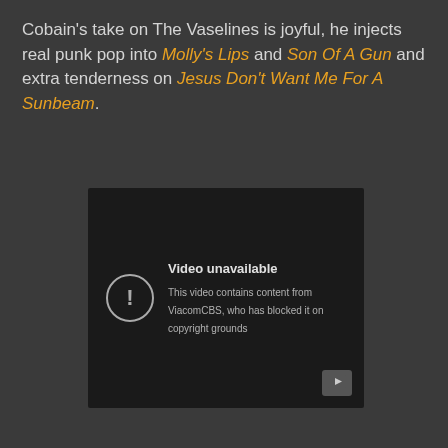Cobain's take on The Vaselines is joyful, he injects real punk pop into Molly's Lips and Son Of A Gun and extra tenderness on Jesus Don't Want Me For A Sunbeam.
[Figure (screenshot): Embedded YouTube video player showing error: 'Video unavailable — This video contains content from ViacomCBS, who has blocked it on copyright grounds']